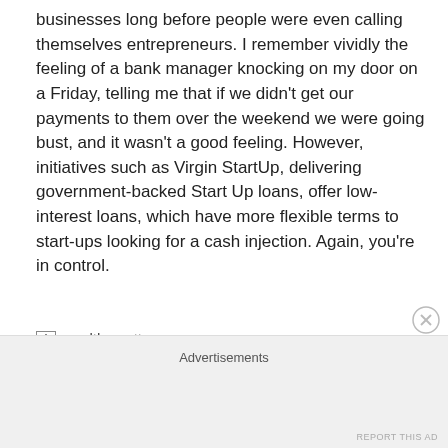businesses long before people were even calling themselves entrepreneurs. I remember vividly the feeling of a bank manager knocking on my door on a Friday, telling me that if we didn't get our payments to them over the weekend we were going bust, and it wasn't a good feeling. However, initiatives such as Virgin StartUp, delivering government-backed Start Up loans, offer low-interest loans, which have more flexible terms to start-ups looking for a cash injection. Again, you're in control.
[Figure (logo): wealthymatters logo/image placeholder with broken image icon]
Advertisements